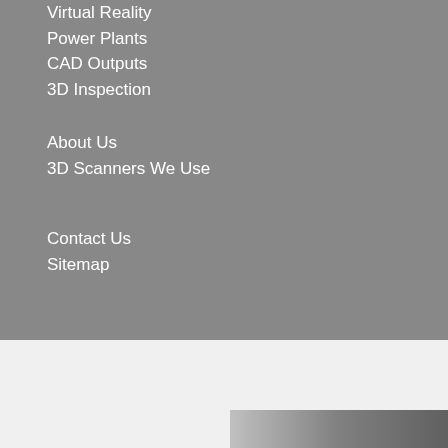Virtual Reality
Power Plants
CAD Outputs
3D Inspection
About Us
3D Scanners We Use
Contact Us
Sitemap